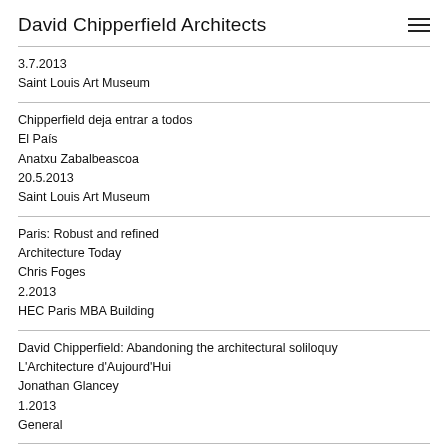David Chipperfield Architects
3.7.2013
Saint Louis Art Museum
Chipperfield deja entrar a todos
El País
Anatxu Zabalbeascoa
20.5.2013
Saint Louis Art Museum
Paris: Robust and refined
Architecture Today
Chris Foges
2.2013
HEC Paris MBA Building
David Chipperfield: Abandoning the architectural soliloquy
L'Architecture d'Aujourd'Hui
Jonathan Glancey
1.2013
General
Coming down to earth
RIBA Journal
Hugh Pearman